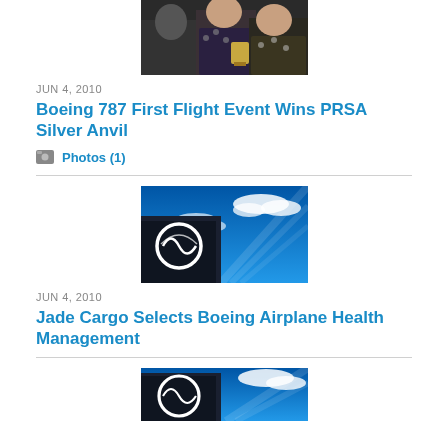[Figure (photo): Two women and a man in formal attire at an event, partially cropped at top of page]
JUN 4, 2010
Boeing 787 First Flight Event Wins PRSA Silver Anvil
Photos (1)
[Figure (photo): Boeing logo on building against blue sky with clouds]
JUN 4, 2010
Jade Cargo Selects Boeing Airplane Health Management
[Figure (photo): Boeing logo on building against blue sky with clouds, partially cropped at bottom of page]